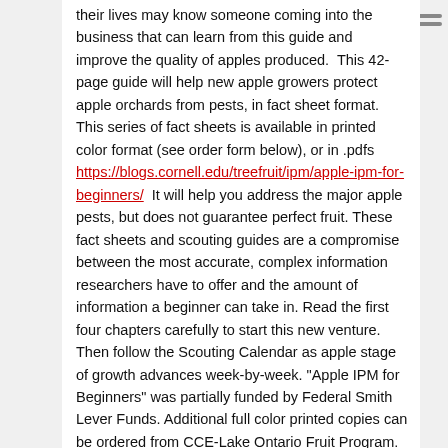their lives may know someone coming into the business that can learn from this guide and improve the quality of apples produced.  This 42-page guide will help new apple growers protect apple orchards from pests, in fact sheet format. This series of fact sheets is available in printed color format (see order form below), or in .pdfs https://blogs.cornell.edu/treefruit/ipm/apple-ipm-for-beginners/  It will help you address the major apple pests, but does not guarantee perfect fruit. These fact sheets and scouting guides are a compromise between the most accurate, complex information researchers have to offer and the amount of information a beginner can take in. Read the first four chapters carefully to start this new venture. Then follow the Scouting Calendar as apple stage of growth advances week-by-week. "Apple IPM for Beginners" was partially funded by Federal Smith Lever Funds. Additional full color printed copies can be ordered from CCE-Lake Ontario Fruit Program.
read details
Apple IPM
Anna Wallis, Tree Fruit and Grape Specialist
Eastern New York Commercial Horticulture
Last Modified: April 24, 2015
How can you use IPM (Integrated Pest Management) to